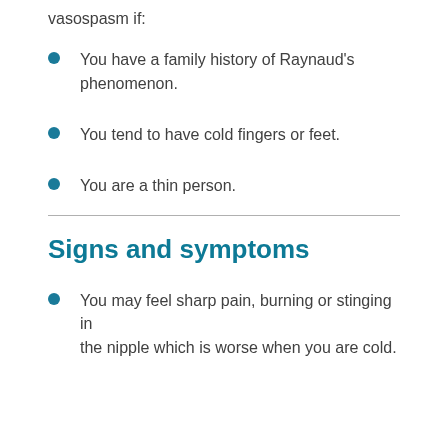vasospasm if:
You have a family history of Raynaud's phenomenon.
You tend to have cold fingers or feet.
You are a thin person.
Signs and symptoms
You may feel sharp pain, burning or stinging in the nipple which is worse when you are cold.